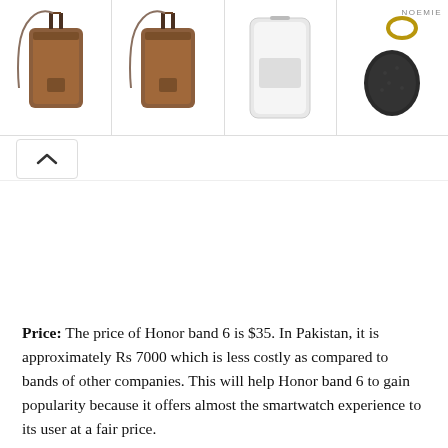[Figure (screenshot): Row of product images showing brown leather phone cases with crossbody straps, a white phone case, and a black leather AirPods case with gold keyring, with NOEMIE brand label in top right]
Price: The price of Honor band 6 is $35. In Pakistan, it is approximately Rs 7000 which is less costly as compared to bands of other companies. This will help Honor band 6 to gain popularity because it offers almost the smartwatch experience to its user at a fair price.
HONOR BAND 5
Price: